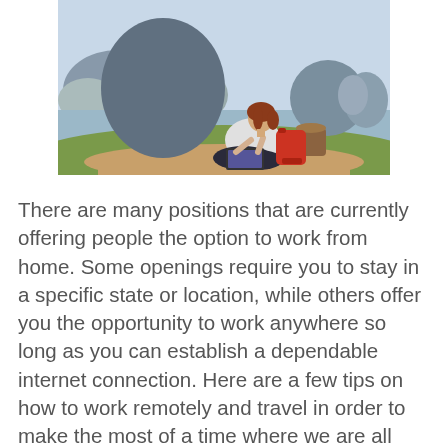[Figure (photo): A woman with red hair sitting cross-legged on a cliff or hilltop outdoors, working on a laptop. She has a red backpack beside her and a log stump behind her. The background shows a scenic coastal landscape with rocky islands, water, and a light cloudy sky.]
There are many positions that are currently offering people the option to work from home. Some openings require you to stay in a specific state or location, while others offer you the opportunity to work anywhere so long as you can establish a dependable internet connection. Here are a few tips on how to work remotely and travel in order to make the most of a time where we are all